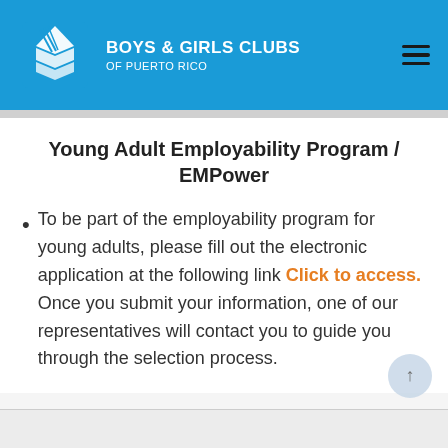[Figure (logo): Boys and Girls Clubs of Puerto Rico logo with blue header bar, white diamond/hands icon on the left, bold white text 'BOYS & GIRLS CLUBS' and smaller 'OF PUERTO RICO', hamburger menu icon on right]
Young Adult Employability Program / EMPower
To be part of the employability program for young adults, please fill out the electronic application at the following link Click to access. Once you submit your information, one of our representatives will contact you to guide you through the selection process.